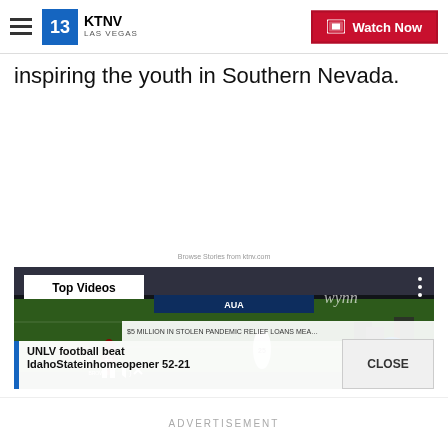KTNV LAS VEGAS — Watch Now
inspiring the youth in Southern Nevada.
Browse Stories from ktnv.com
[Figure (screenshot): Video player showing a UNLV football game in progress. Players on field mid-play. Overlay shows 'Top Videos' badge, pause and mute controls, arrow navigation button, and lower-third with title 'UNLV football beat IdahoStateinhomeopener 52-21'. A breaking news ticker reads '$5 MILLION IN STOLEN PANDEMIC RELIEF LOANS MEA...' A CLOSE button appears bottom right.]
ADVERTISEMENT